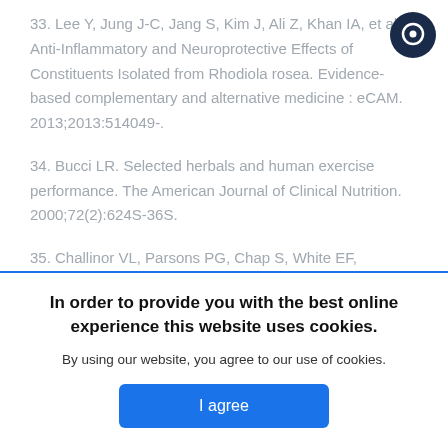33. Lee Y, Jung J-C, Jang S, Kim J, Ali Z, Khan IA, et al. Anti-Inflammatory and Neuroprotective Effects of Constituents Isolated from Rhodiola rosea. Evidence-based complementary and alternative medicine : eCAM. 2013;2013:514049-.
34. Bucci LR. Selected herbals and human exercise performance. The American Journal of Clinical Nutrition. 2000;72(2):624S-36S.
35. Challinor VL, Parsons PG, Chap S, White EF, Blanchfield JT, Lehmann RP, et al. Steroidal saponins from the roots of Rhodiola rosea for managing stress...
[Figure (other): Cookie consent banner overlay: bold text 'In order to provide you with the best online experience this website uses cookies.' followed by 'By using our website, you agree to our use of cookies.' and a blue 'I agree' button.]